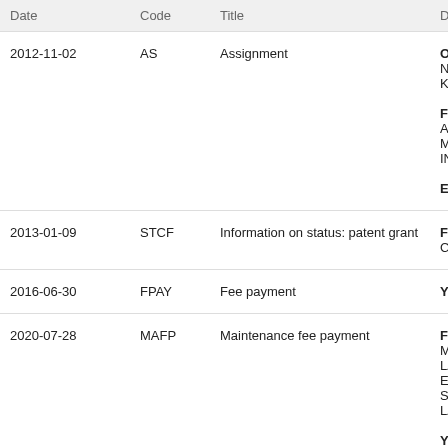| Date | Code | Title | Desc |
| --- | --- | --- | --- |
| 2012-11-02 | AS | Assignment | Owner
NATI
KANS

Free
AGRE
MOT
INC.;M

Effec |
| 2013-01-09 | STCF | Information on status: patent grant | Free
CASE |
| 2016-06-30 | FPAY | Fee payment | Year |
| 2020-07-28 | MAFP | Maintenance fee payment | Free
MAIN
LARG
EVEN
STAT
LARG

Year |